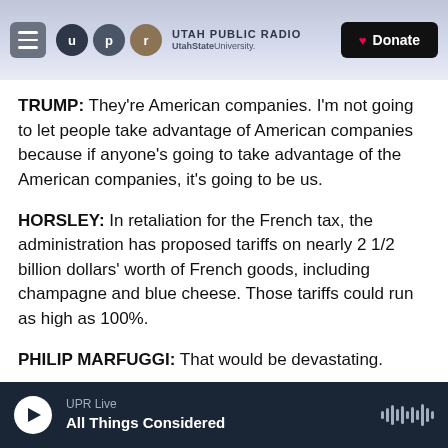Utah Public Radio / UtahStateUniversity — Donate
TRUMP: They're American companies. I'm not going to let people take advantage of American companies because if anyone's going to take advantage of the American companies, it's going to be us.
HORSLEY: In retaliation for the French tax, the administration has proposed tariffs on nearly 2 1/2 billion dollars' worth of French goods, including champagne and blue cheese. Those tariffs could run as high as 100%.
PHILIP MARFUGGI: That would be devastating.
UPR Live — All Things Considered